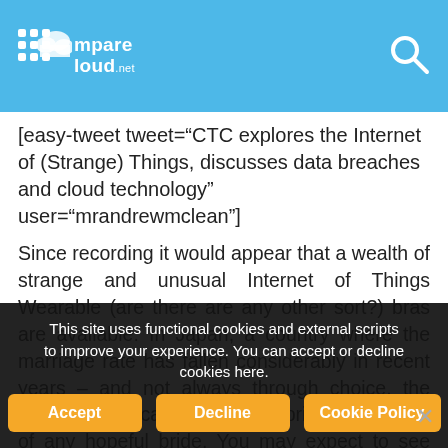comparecloud.net
[easy-tweet tweet="CTC explores the Internet of (Strange) Things, discusses data breaches and cloud technology" user="mrandrewmclean"]
Since recording it would appear that a wealth of strange and unusual Internet of Things Wearable (are there are any other sort?) bras are available. In Japan, a country where the marriage rate has fallen considerably in recent years – and not always through choice, the Konkatsu Bra can soon be the prize possession of any hopeful bride. You may expect to see such a device advertised in a 1950's magazine when times were less enlightened and men wore suits on every
This site uses functional cookies and external scripts to improve your experience. You can accept or decline cookies here.